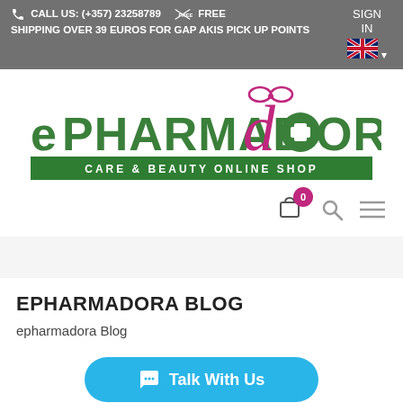CALL US: (+357) 23258789  FREE SHIPPING OVER 39 EUROS FOR GAP AKIS PICK UP POINTS  SIGN IN
[Figure (logo): ePHARMADORA Care & Beauty Online Shop logo with green and magenta lettering and green cross symbol]
[Figure (screenshot): Navigation icons: shopping bag with cart count badge showing 0, search icon, hamburger menu icon]
EPHARMADORA BLOG
epharmadora Blog
[Figure (infographic): Talk With Us chat button in blue/cyan color]